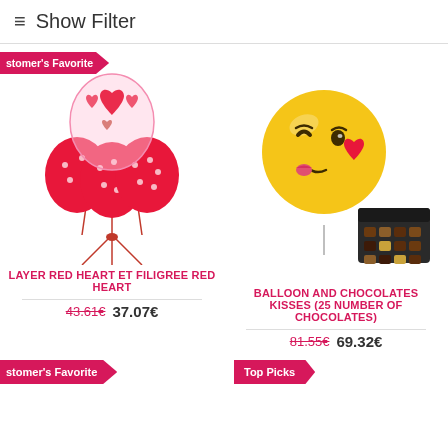≡ Show Filter
[Figure (illustration): Bunch of red heart balloons with a large transparent heart-patterned balloon on top, tied with red ribbons]
LAYER RED HEART ET FILIGREE RED HEART
43.61€  37.07€
[Figure (illustration): Yellow emoji winking kiss balloon with a red heart, and an open box of assorted chocolates beside it]
BALLOON AND CHOCOLATES KISSES (25 NUMBER OF CHOCOLATES)
81.55€  69.32€
Customer's Favorite
Top Picks